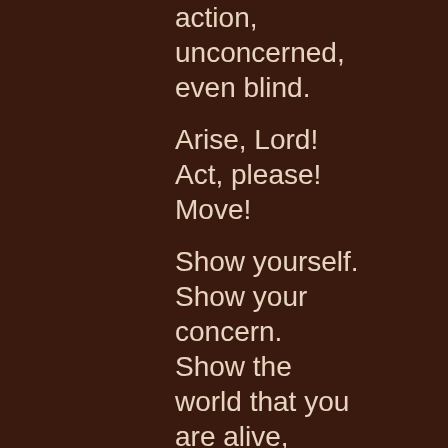action,
unconcerned,
even blind.
Arise, Lord!
Act, please!
Move!
Show yourself.
Show your concern.
Show the world that you are alive, awake, and in control.
Show up for the helpless.
Show up for the orphan.
Show up for